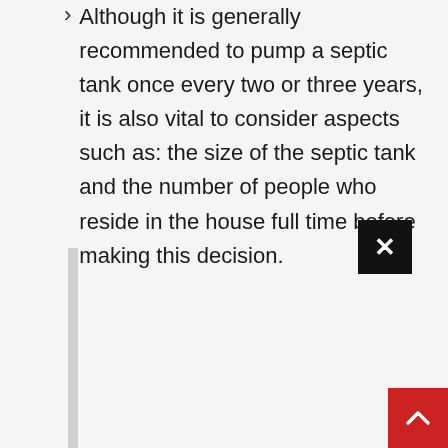Although it is generally recommended to pump a septic tank once every two or three years, it is also vital to consider aspects such as: the size of the septic tank and the number of people who reside in the house full time before making this decision.